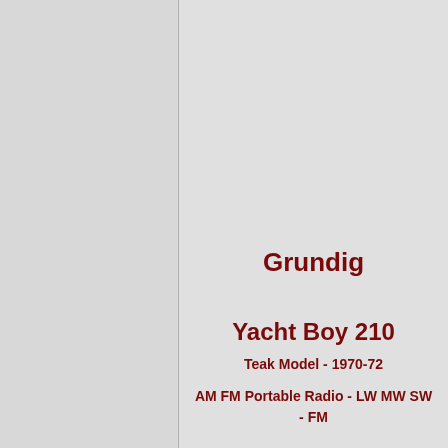Grundig
Yacht Boy 210
Teak Model - 1970-72
AM FM Portable Radio - LW MW SW - FM